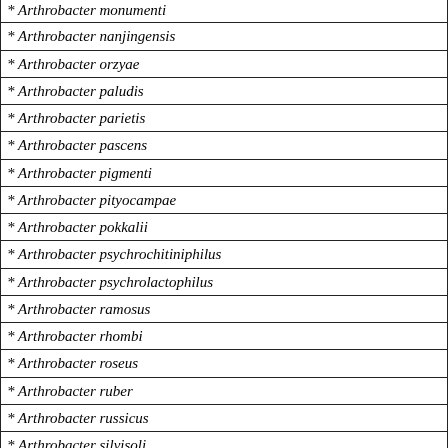| * Arthrobacter monumenti |
| * Arthrobacter nanjingensis |
| * Arthrobacter orzyae |
| * Arthrobacter paludis |
| * Arthrobacter parietis |
| * Arthrobacter pascens |
| * Arthrobacter pigmenti |
| * Arthrobacter pityocampae |
| * Arthrobacter pokkalii |
| * Arthrobacter psychrochitiniphilus |
| * Arthrobacter psychrolactophilus |
| * Arthrobacter ramosus |
| * Arthrobacter rhombi |
| * Arthrobacter roseus |
| * Arthrobacter ruber |
| * Arthrobacter russicus |
| * Arthrobacter silvisoli |
| * Arthrobacter silviterrae |
| * Arthrobacter stackerbrandtii |